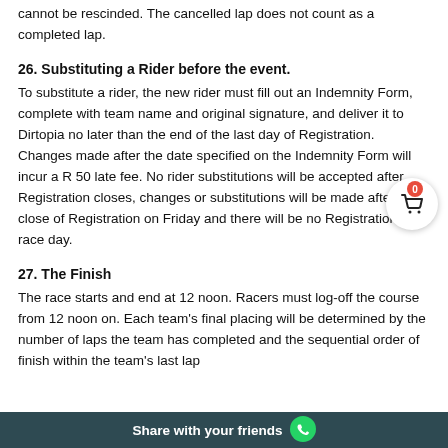cannot be rescinded. The cancelled lap does not count as a completed lap.
26. Substituting a Rider before the event.
To substitute a rider, the new rider must fill out an Indemnity Form, complete with team name and original signature, and deliver it to Dirtopia no later than the end of the last day of Registration. Changes made after the date specified on the Indemnity Form will incur a R 50 late fee. No rider substitutions will be accepted after Registration closes, changes or substitutions will be made after the close of Registration on Friday and there will be no Registration on race day.
27. The Finish
The race starts and end at 12 noon. Racers must log-off the course from 12 noon on. Each team's final placing will be determined by the number of laps the team has completed and the sequential order of finish within the team's last lap
Share with your friends